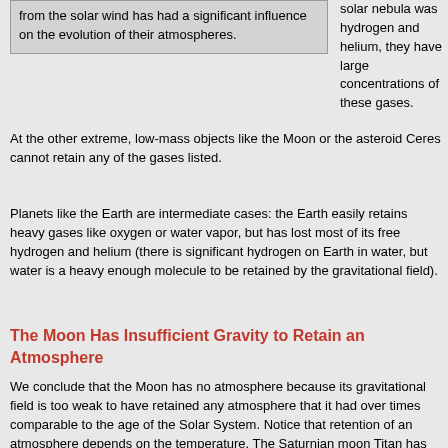from the solar wind has had a significant influence on the evolution of their atmospheres.
solar nebula was hydrogen and helium, they have large concentrations of these gases. At the other extreme, low-mass objects like the Moon or the asteroid Ceres cannot retain any of the gases listed.
Planets like the Earth are intermediate cases: the Earth easily retains heavy gases like oxygen or water vapor, but has lost most of its free hydrogen and helium (there is significant hydrogen on Earth in water, but water is a heavy enough molecule to be retained by the gravitational field).
The Moon Has Insufficient Gravity to Retain an Atmosphere
We conclude that the Moon has no atmosphere because its gravitational field is too weak to have retained any atmosphere that it had over times comparable to the age of the Solar System. Notice that retention of an atmosphere depends on the temperature. The Saturnian moon Titan has an escape velocity only about twice that of the Moon, but it has retained an atmosphere even thicker than that of the Earth because it is far from the Sun and therefore much colder than the Moon.